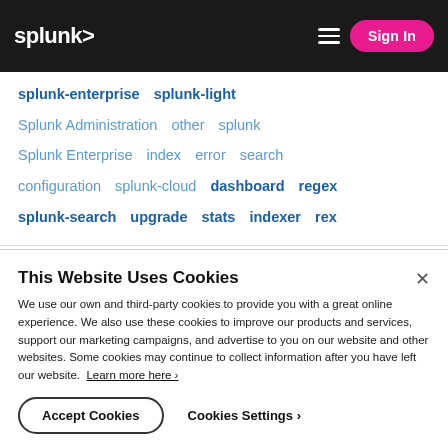splunk> Sign In
splunk-enterprise   splunk-light
Splunk Administration   other   splunk
Splunk Enterprise   index   error   search
configuration   splunk-cloud   dashboard   regex
splunk-search   upgrade   stats   indexer   rex
This Website Uses Cookies
We use our own and third-party cookies to provide you with a great online experience. We also use these cookies to improve our products and services, support our marketing campaigns, and advertise to you on our website and other websites. Some cookies may continue to collect information after you have left our website. Learn more here ›
Accept Cookies   Cookies Settings ›